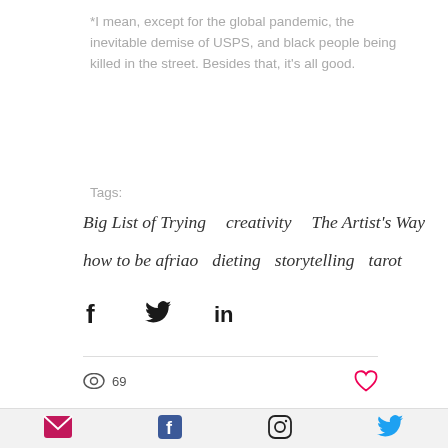*I mean, except for the global pandemic, the inevitable demise of USPS, and black people being killed in the street. Besides that, it's all good.
Tags:
Big List of Trying   creativity   The Artist's Way
how to be afriao   dieting   storytelling   tarot
[Figure (infographic): Social share icons: Facebook (f), Twitter bird, LinkedIn (in)]
[Figure (infographic): View count: eye icon with 69 views; heart/like icon on right]
[Figure (infographic): Footer social icons: email envelope (pink), Facebook (blue), Instagram, Twitter (blue)]